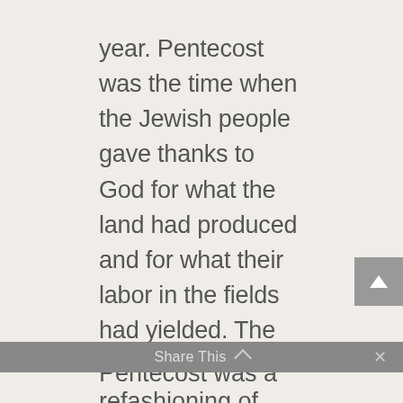year. Pentecost was the time when the Jewish people gave thanks to God for what the land had produced and for what their labor in the fields had yielded. The observance of Pentecost for Judaism occurred seven weeks after the observance of Passover, and involved Jewish men gathering in the Temple in Jerusalem to mark that agricultural cycle.
Share This ∨  ×
Pentecost was a refashioning of